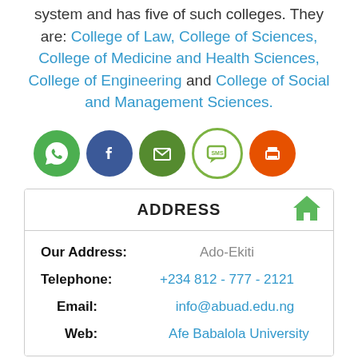system and has five of such colleges. They are: College of Law, College of Sciences, College of Medicine and Health Sciences, College of Engineering and College of Social and Management Sciences.
[Figure (infographic): Row of five social/share icons: WhatsApp (green), Facebook (dark blue), Email (dark green), SMS (light green outline), Print (orange)]
| ADDRESS |  |
| --- | --- |
| Our Address: | Ado-Ekiti |
| Telephone: | +234 812 - 777 - 2121 |
| Email: | info@abuad.edu.ng |
| Web: | Afe Babalola University |